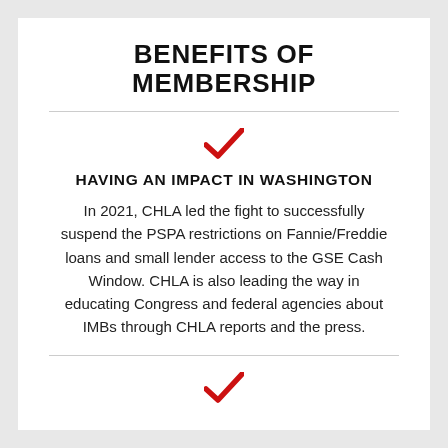BENEFITS OF MEMBERSHIP
[Figure (illustration): Red checkmark icon]
HAVING AN IMPACT IN WASHINGTON
In 2021, CHLA led the fight to successfully suspend the PSPA restrictions on Fannie/Freddie loans and small lender access to the GSE Cash Window. CHLA is also leading the way in educating Congress and federal agencies about IMBs through CHLA reports and the press.
[Figure (illustration): Red checkmark icon]